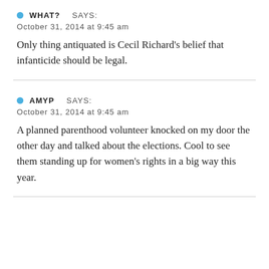WHAT? SAYS:
October 31, 2014 at 9:45 am
Only thing antiquated is Cecil Richard's belief that infanticide should be legal.
AMYP SAYS:
October 31, 2014 at 9:45 am
A planned parenthood volunteer knocked on my door the other day and talked about the elections. Cool to see them standing up for women's rights in a big way this year.